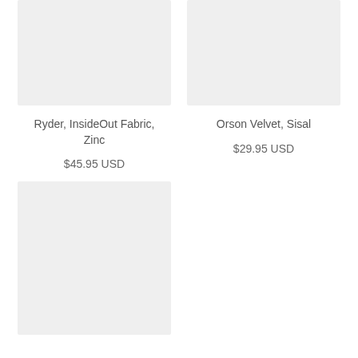[Figure (photo): Product image placeholder for Ryder InsideOut Fabric Zinc, light gray rectangle]
[Figure (photo): Product image placeholder for Orson Velvet Sisal, light gray rectangle]
Ryder, InsideOut Fabric, Zinc
$45.95 USD
Orson Velvet, Sisal
$29.95 USD
[Figure (photo): Product image placeholder, light gray rectangle, third product]